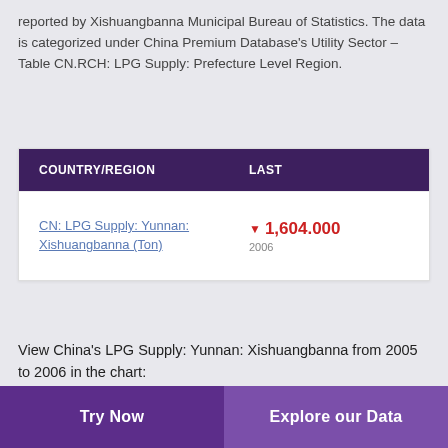reported by Xishuangbanna Municipal Bureau of Statistics. The data is categorized under China Premium Database's Utility Sector – Table CN.RCH: LPG Supply: Prefecture Level Region.
| COUNTRY/REGION | LAST |
| --- | --- |
| CN: LPG Supply: Yunnan: Xishuangbanna (Ton) | ▼ 1,604.000
2006 |
View China's LPG Supply: Yunnan: Xishuangbanna from 2005 to 2006 in the chart:
There is no data available for your selected dates.
[Figure (area-chart): Partial area chart showing LPG Supply data with y-axis values 2000, 2100, 2200 and a labeled point at 2,160.000, purple shaded area declining from left]
Try Now
Explore our Data